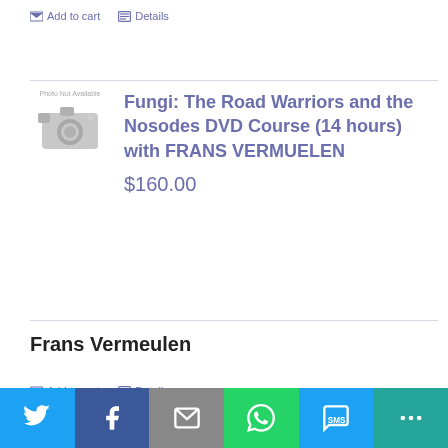Add to cart   Details
[Figure (photo): Photo Not Available placeholder with camera icon]
Fungi: The Road Warriors and the Nosodes DVD Course (14 hours) with FRANS VERMUELEN
$160.00
Frans Vermeulen
Add to cart   Details